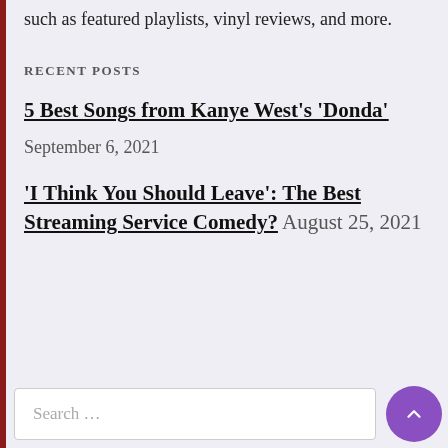such as featured playlists, vinyl reviews, and more.
RECENT POSTS
5 Best Songs from Kanye West's 'Donda'
September 6, 2021
'I Think You Should Leave': The Best Streaming Service Comedy? August 25, 2021